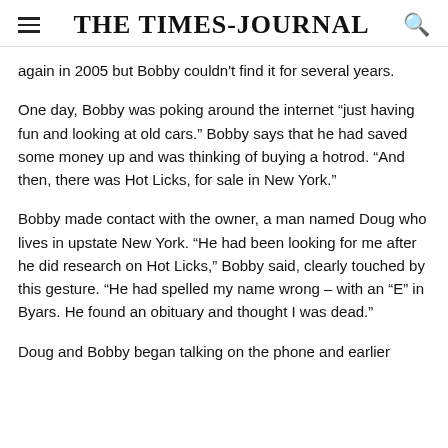THE TIMES-JOURNAL
again in 2005 but Bobby couldn't find it for several years.
One day, Bobby was poking around the internet “just having fun and looking at old cars.” Bobby says that he had saved some money up and was thinking of buying a hotrod. “And then, there was Hot Licks, for sale in New York.”
Bobby made contact with the owner, a man named Doug who lives in upstate New York. “He had been looking for me after he did research on Hot Licks,” Bobby said, clearly touched by this gesture. “He had spelled my name wrong – with an “E” in Byars. He found an obituary and thought I was dead.”
Doug and Bobby began talking on the phone and earlier